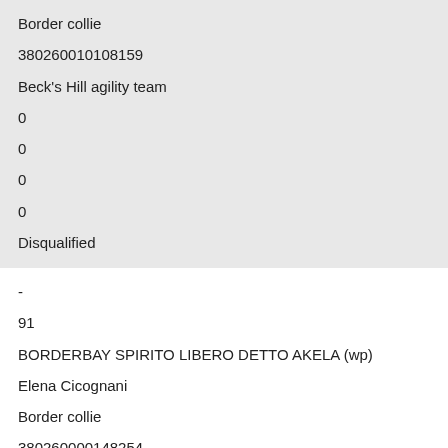Border collie
380260010108159
Beck's Hill agility team
0
0
0
0
Disqualified
-
91
BORDERBAY SPIRITO LIBERO DETTO AKELA (wp)
Elena Cicognani
Border collie
380260000148254
Free Dogs Team Padova
0
0
0
0
Disqualified